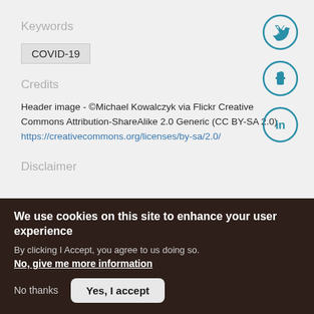Keywords
COVID-19
Credits
Header image - ©Michael Kowalczyk via Flickr Creative Commons Attribution-ShareAlike 2.0 Generic (CC BY-SA 2.0) https://creativecommons.org/licenses/by-sa/2.0/
[Figure (illustration): Twitter, Facebook, and LinkedIn social share icons as teal outlined circles with white symbols]
Disclaimer
We use cookies on this site to enhance your user experience
By clicking I Accept, you agree to us doing so.
No, give me more information
No thanks
Yes, I accept